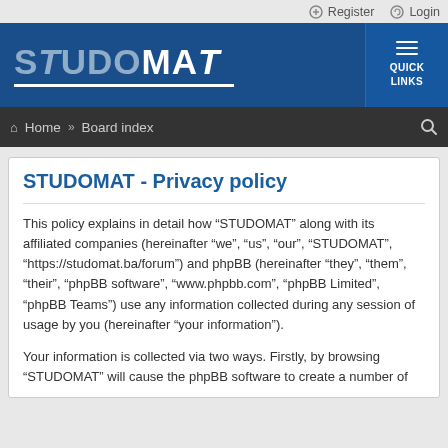Register   Login
[Figure (logo): STUDOMAT forum logo on dark blue background with QUICK LINKS button]
Home » Board index
STUDOMAT - Privacy policy
This policy explains in detail how “STUDOMAT” along with its affiliated companies (hereinafter “we”, “us”, “our”, “STUDOMAT”, “https://studomat.ba/forum”) and phpBB (hereinafter “they”, “them”, “their”, “phpBB software”, “www.phpbb.com”, “phpBB Limited”, “phpBB Teams”) use any information collected during any session of usage by you (hereinafter “your information”).
Your information is collected via two ways. Firstly, by browsing “STUDOMAT” will cause the phpBB software to create a number of